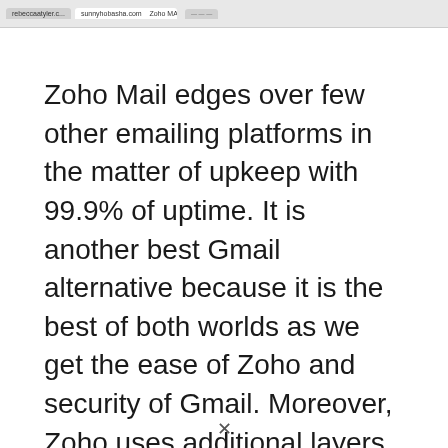[Figure (screenshot): Browser tab bar screenshot showing tabs including 'rebeccaatyler.c...', 'sunnyhobasha.com', 'Zoho MAIL : Mail For...', and other browser UI elements]
Zoho Mail edges over few other emailing platforms in the matter of upkeep with 99.9% of uptime. It is another best Gmail alternative because it is the best of both worlds as we get the ease of Zoho and security of Gmail. Moreover, Zoho uses additional layers of security to ensure a secured line.